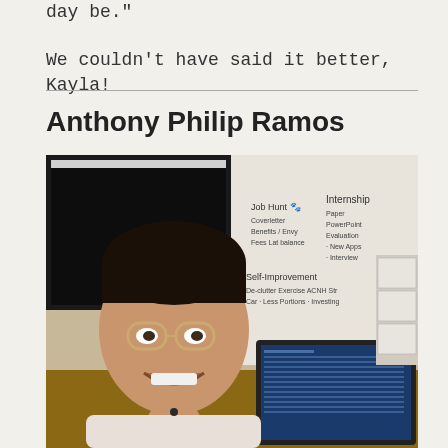day be."
We couldn’t have said it better, Kayla!
Anthony Philip Ramos
[Figure (photo): Photo of Anthony Philip Ramos smiling at his desk with a computer monitor, laptop, and a whiteboard behind him showing lists including 'Job Hunt', 'Internship', and 'Self-Improvement' items.]